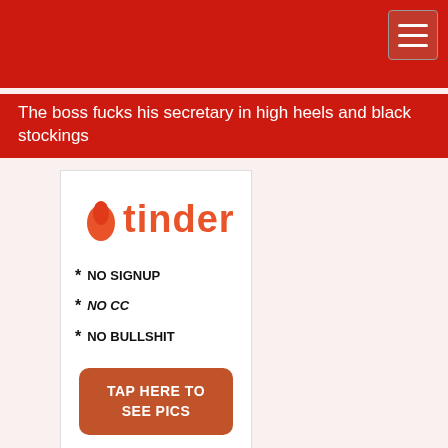The boss fucks his secretary in high heels and black stockings
[Figure (advertisement): Tinder advertisement banner with orange Tinder logo, bullet points '* NO SIGNUP  * NO CC  * NO BULLSHIT', and an orange rounded button reading 'TAP HERE TO SEE PICS']
Ads by JuicyAds